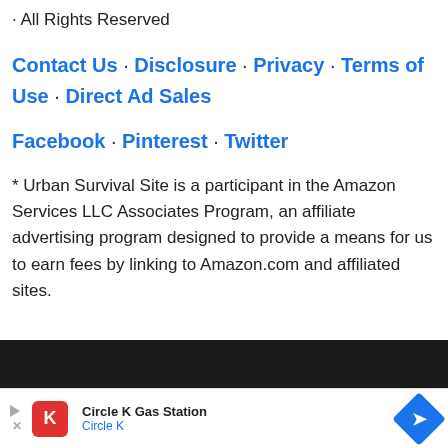· All Rights Reserved
Contact Us · Disclosure · Privacy · Terms of Use · Direct Ad Sales
Facebook · Pinterest · Twitter
* Urban Survival Site is a participant in the Amazon Services LLC Associates Program, an affiliate advertising program designed to provide a means for us to earn fees by linking to Amazon.com and affiliated sites.
[Figure (other): Dark navigation/footer bar]
[Figure (other): Circle K Gas Station advertisement banner with logo and navigation icon]